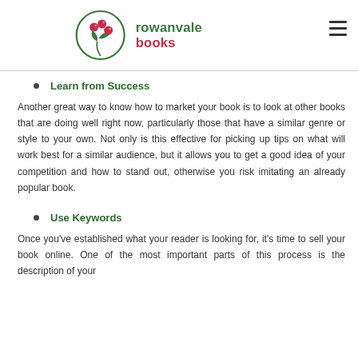rowanvale books
Learn from Success
Another great way to know how to market your book is to look at other books that are doing well right now, particularly those that have a similar genre or style to your own. Not only is this effective for picking up tips on what will work best for a similar audience, but it allows you to get a good idea of your competition and how to stand out, otherwise you risk imitating an already popular book.
Use Keywords
Once you've established what your reader is looking for, it's time to sell your book online. One of the most important parts of this process is the description of your